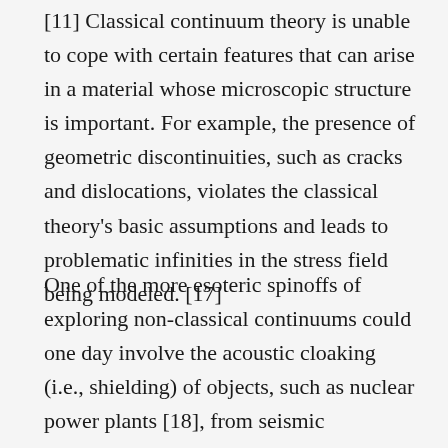[11] Classical continuum theory is unable to cope with certain features that can arise in a material whose microscopic structure is important. For example, the presence of geometric discontinuities, such as cracks and dislocations, violates the classical theory's basic assumptions and leads to problematic infinities in the stress field being modeled. [17]
One of the more esoteric spinoffs of exploring non-classical continuums could one day involve the acoustic cloaking (i.e., shielding) of objects, such as nuclear power plants [18], from seismic transverse waves by surrounding the objects with specially designed Cosserat/micropolar materials. [19] [20] The materials are granular lattices known as phononic crystals, and because transverse and rotational waves interact inside them, they can be